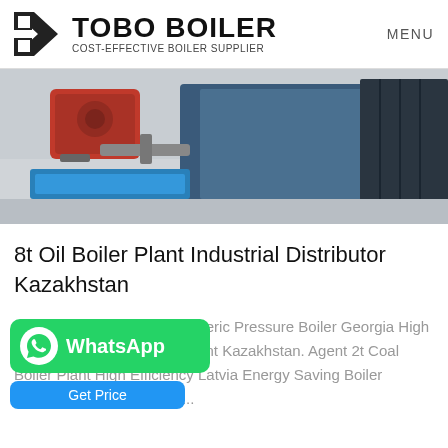TOBO BOILER | COST-EFFECTIVE BOILER SUPPLIER | MENU
[Figure (photo): Industrial oil boiler plant equipment photographed in a factory setting, showing red and blue machinery components]
8t Oil Boiler Plant Industrial Distributor Kazakhstan
Agent 8t Coal Fired Atmospheric Pressure Boiler Georgia High Efficiency Agent 4t Boiler Plant Kazakhstan. Agent 2t Coal Boiler Plant High Efficiency Latvia Energy Saving Boiler Moldavia. 6T 1 Ton Boiler...
[Figure (other): WhatsApp contact button (green) and Get Price button (blue)]